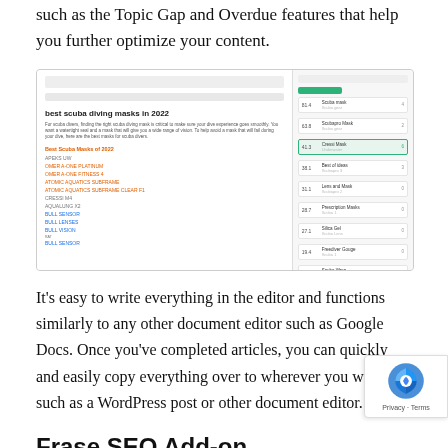such as the Topic Gap and Overdue features that help you further optimize your content.
[Figure (screenshot): Screenshot of Frase editor showing a document about 'best scuba diving masks in 2022' with a sidebar panel listing keyword scores and topics]
It's easy to write everything in the editor and functions similarly to any other document editor such as Google Docs. Once you've completed articles, you can quickly and easily copy everything over to wherever you want, such as a WordPress post or other document editor.
Frase SEO Add-on
One of the main things that attracts many people to Frase is